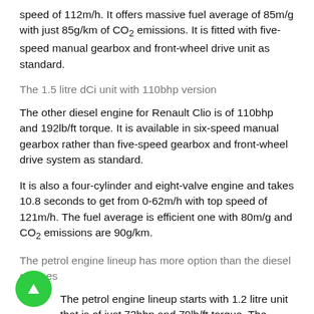speed of 112m/h. It offers massive fuel average of 85m/g with just 85g/km of CO2 emissions. It is fitted with five-speed manual gearbox and front-wheel drive unit as standard.
The 1.5 litre dCi unit with 110bhp version
The other diesel engine for Renault Clio is of 110bhp and 192lb/ft torque. It is available in six-speed manual gearbox rather than five-speed gearbox and front-wheel drive system as standard.
It is also a four-cylinder and eight-valve engine and takes 10.8 seconds to get from 0-62m/h with top speed of 121m/h. The fuel average is efficient one with 80m/g and CO2 emissions are 90g/km.
The petrol engine lineup has more option than the diesel engines
The petrol engine lineup starts with 1.2 litre unit that is of just 73bhp and 79lb/ft torque. The interesting thing of